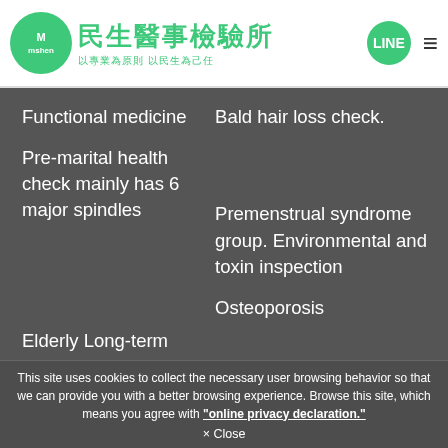民生醫事檢驗所 以專業為原則 以民生為己任
Functional medicine
Bald hair loss check.
Pre-marital health check mainly has 6 major spindles
Premenstrual syndrome group. Environmental and toxin inspection
Elderly Long-term care
Osteoporosis
This site uses cookies to collect the necessary user browsing behavior so that we can provide you with a better browsing experience. Browse this site, which means you agree with "online privacy declaration."
× Close